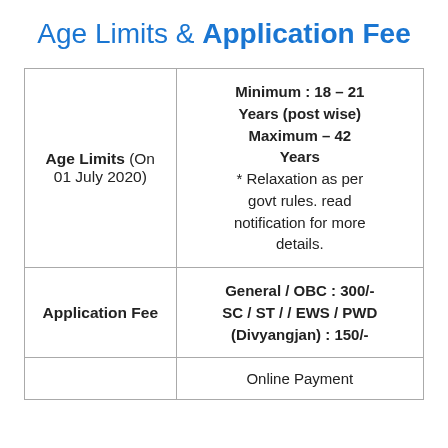Age Limits & Application Fee
|  |  |
| --- | --- |
| Age Limits (On 01 July 2020) | Minimum : 18 – 21 Years (post wise) Maximum – 42 Years * Relaxation as per govt rules. read notification for more details. |
| Application Fee | General / OBC : 300/- SC / ST / / EWS / PWD (Divyangjan) : 150/- |
|  | Online Payment |